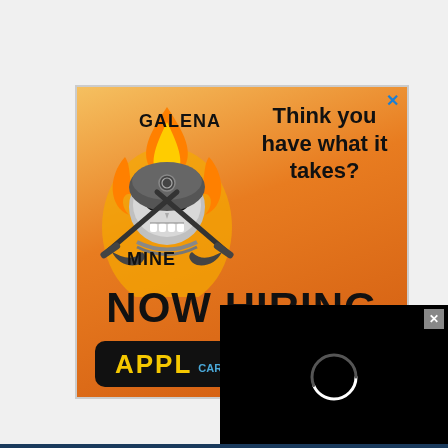[Figure (screenshot): Web advertisement for Galena Mine 'Now Hiring' recruitment. Features orange gradient background, skull-with-flames logo, text 'GALENA MINE', tagline 'Think you have what it takes?', large bold text 'NOW HIRING', and a black button reading 'APPL[Y] CAREERS'. An overlapping black video loading overlay with a spinner ring is visible in the lower right, with a close button. A blue X close button is in the upper right of the ad. A dark blue horizontal line runs along the bottom.]